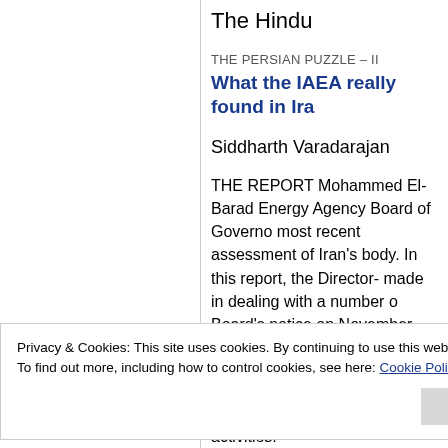The Hindu
THE PERSIAN PUZZLE – II
What the IAEA really found in Ira
Siddharth Varadarajan
THE REPORT Mohammed El-Barad Energy Agency Board of Governo most recent assessment of Iran's body. In this report, the Director- made in dealing with a number o Board's notice on November 15,
Those findings involved six insta
Privacy & Cookies: This site uses cookies. By continuing to use this website, you agree to their use.
To find out more, including how to control cookies, see here: Cookie Policy
activities."